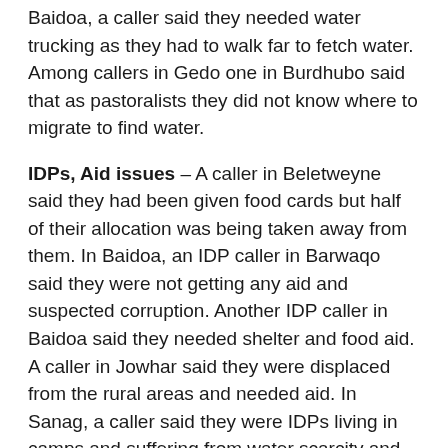Baidoa, a caller said they needed water trucking as they had to walk far to fetch water. Among callers in Gedo one in Burdhubo said that as pastoralists they did not know where to migrate to find water.
IDPs, Aid issues – A caller in Beletweyne said they had been given food cards but half of their allocation was being taken away from them. In Baidoa, an IDP caller in Barwaqo said they were not getting any aid and suspected corruption. Another IDP caller in Baidoa said they needed shelter and food aid. A caller in Jowhar said they were displaced from the rural areas and needed aid. In Sanag, a caller said they were IDPs living in camps and suffering from water scarcity and rising prices. A caller in Qarsa, L. Juba, said ahead of the rain they needed shelters and mosquito nets.
Livestock – as usual, callers had questions for the Radio Vet programme about livestock diseases. Among them, a